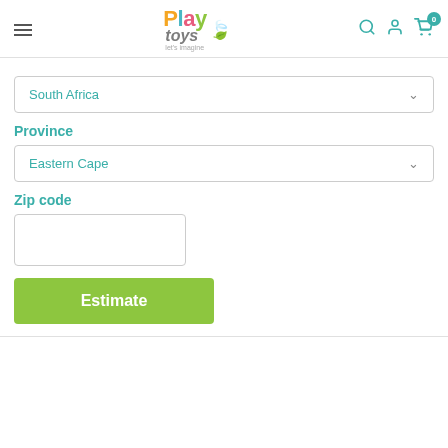[Figure (logo): PlayToys logo with colorful letters and leaf icon]
South Africa
Province
Eastern Cape
Zip code
Estimate